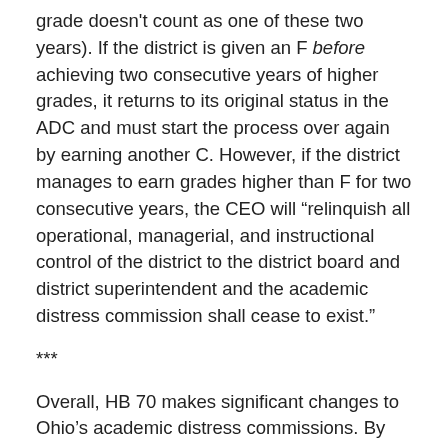grade doesn't count as one of these two years). If the district is given an F before achieving two consecutive years of higher grades, it returns to its original status in the ADC and must start the process over again by earning another C. However, if the district manages to earn grades higher than F for two consecutive years, the CEO will “relinquish all operational, managerial, and instructional control of the district to the district board and district superintendent and the academic distress commission shall cease to exist.”
***
Overall, HB 70 makes significant changes to Ohio’s academic distress commissions. By lessening the power of the local school board, transferring that